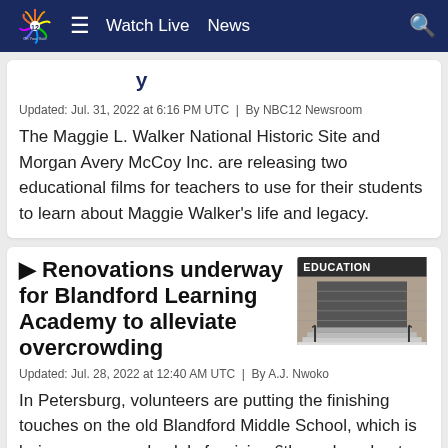NBC12 On Your Side — Watch Live | News
[partial title cut off]
Updated: Jul. 31, 2022 at 6:16 PM UTC  |  By NBC12 Newsroom
The Maggie L. Walker National Historic Site and Morgan Avery McCoy Inc. are releasing two educational films for teachers to use for their students to learn about Maggie Walker's life and legacy.
Renovations underway for Blandford Learning Academy to alleviate overcrowding
[Figure (photo): Exterior photo of a school building with stairs and railings, labeled EDUCATION]
Updated: Jul. 28, 2022 at 12:40 AM UTC  |  By A.J. Nwoko
In Petersburg, volunteers are putting the finishing touches on the old Blandford Middle School, which is being repurposed solely for rising 6th graders due to overcrowding at Vernon Johns Middle.